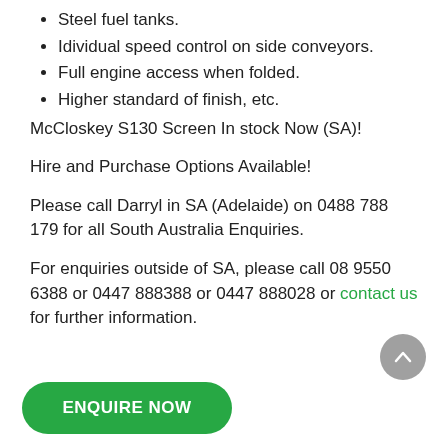Steel fuel tanks.
Idividual speed control on side conveyors.
Full engine access when folded.
Higher standard of finish, etc.
McCloskey S130 Screen In stock Now (SA)!
Hire and Purchase Options Available!
Please call Darryl in SA (Adelaide) on 0488 788 179 for all South Australia Enquiries.
For enquiries outside of SA, please call 08 9550 6388 or 0447 888388 or 0447 888028 or contact us for further information.